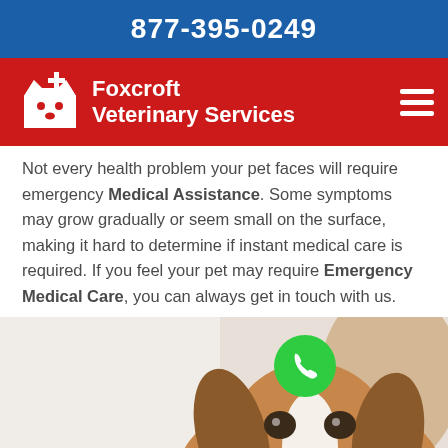877-395-0249
[Figure (logo): Foxcroft Veterinary Services logo on red navigation bar with hamburger menu icon]
Not every health problem your pet faces will require emergency Medical Assistance. Some symptoms may grow gradually or seem small on the surface, making it hard to determine if instant medical care is required. If you feel your pet may require Emergency Medical Care, you can always get in touch with us.
[Figure (photo): A Cavalier King Charles Spaniel dog being held by a person, with a green phone call button overlay]